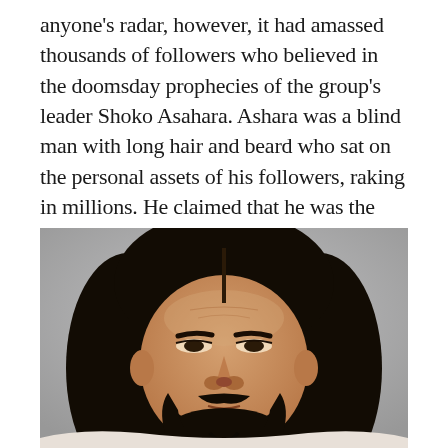anyone's radar, however, it had amassed thousands of followers who believed in the doomsday prophecies of the group's leader Shoko Asahara. Ashara was a blind man with long hair and beard who sat on the personal assets of his followers, raking in millions. He claimed that he was the second coming of Christ and that he could travel through time.
[Figure (photo): Close-up photograph of a man with long black hair parted in the middle, a mustache and beard, looking directly at the camera against a grey background.]